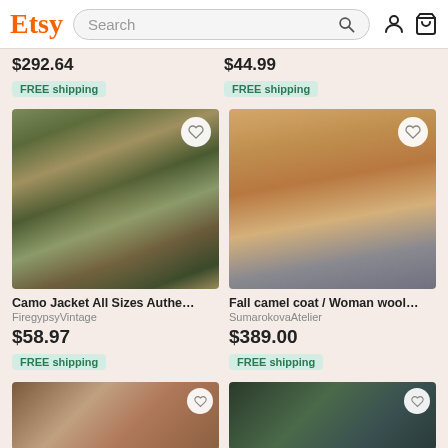Etsy — Search bar with user and cart icons
$292.64
FREE shipping
$44.99
FREE shipping
[Figure (photo): Woman wearing camo jacket, sunglasses, white tank top and shorts, outdoors in a park]
[Figure (photo): Woman wearing a fall camel wool coat and dark hat, standing outdoors]
Camo Jacket All Sizes Authenti...
FiregypsyVintage
$58.97
FREE shipping
Fall camel coat / Woman wool c...
SumarokovaAtelier
$389.00
FREE shipping
[Figure (photo): Person wearing fur-trimmed jacket and sunglasses, in front of a brick wall]
[Figure (photo): Woman in dark green coat outdoors among trees]